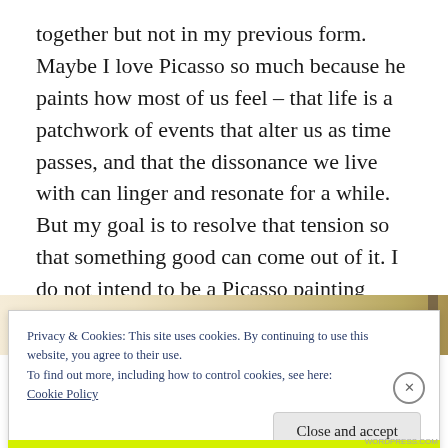together but not in my previous form. Maybe I love Picasso so much because he paints how most of us feel – that life is a patchwork of events that alter us as time passes, and that the dissonance we live with can linger and resonate for a while. But my goal is to resolve that tension so that something good can come out of it. I do not intend to be a Picasso painting forever.
[Figure (photo): Partial view of an image showing warm tan/beige tones, likely a painting or artwork, partially obscured by the cookie consent banner.]
Privacy & Cookies: This site uses cookies. By continuing to use this website, you agree to their use.
To find out more, including how to control cookies, see here:
Cookie Policy